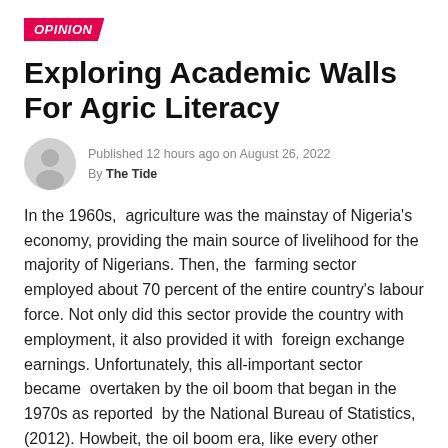OPINION
Exploring Academic Walls For Agric Literacy
Published 12 hours ago on August 26, 2022
By The Tide
In the 1960s,  agriculture was the mainstay of Nigeria's economy, providing the main source of livelihood for the majority of Nigerians. Then, the  farming sector employed about 70 percent of the entire country's labour force. Not only did this sector provide the country with employment, it also provided it with  foreign exchange earnings. Unfortunately, this all-important sector became  overtaken by the oil boom that began in the 1970s as reported  by the National Bureau of Statistics, (2012). Howbeit, the oil boom era, like every other season that is never permanent, is gradually fizzling out of stage, thereby